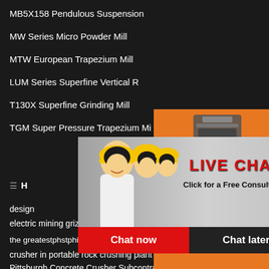MB5X158 Pendulous Suspension
MW Series Micro Powder Mill
MTW European Trapezium Mill
LUM Series Superfine Vertical R
T130X Superfine Grinding Mill
TGM Super Pressure Trapezium Mi
H
[Figure (screenshot): Live Chat popup overlay with photo of workers in yellow hard hats, red LIVE CHAT text, 'Click for a Free Consultation' text, Chat now (red) and Chat later (dark) buttons, and a close X button]
[Figure (photo): Orange sidebar panel with images of mining/crushing machinery, Enjoy 3% discount bar in yellow, Enquiry button, and email limingjlmofen@sina.com]
design
electric mining grizzly vibrating feeder price
the greatestphstphigh efficiency hydraulic cone crusher
crusher in portable rock crushing plant
Pittsburgh Concrete Crusher Subcontractor
quartz crushing plant guru